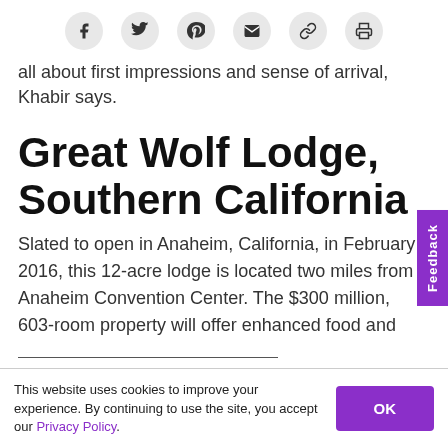[Social sharing icons: Facebook, Twitter, Pinterest, Email, Link, Print]
all about first impressions and sense of arrival, Khabir says.
Great Wolf Lodge, Southern California
Slated to open in Anaheim, California, in February 2016, this 12-acre lodge is located two miles from Anaheim Convention Center. The $300 million, 603-room property will offer enhanced food and
This website uses cookies to improve your experience. By continuing to use the site, you accept our Privacy Policy.